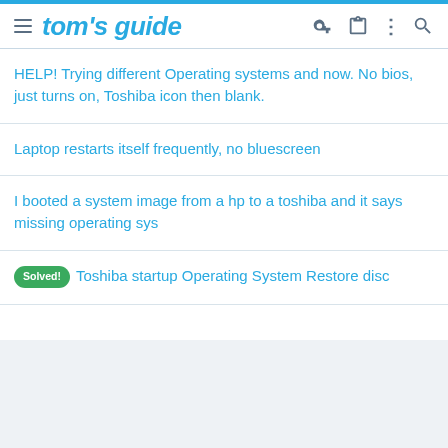tom's guide
HELP! Trying different Operating systems and now. No bios, just turns on, Toshiba icon then blank.
Laptop restarts itself frequently, no bluescreen
I booted a system image from a hp to a toshiba and it says missing operating sys
Solved! Toshiba startup Operating System Restore disc